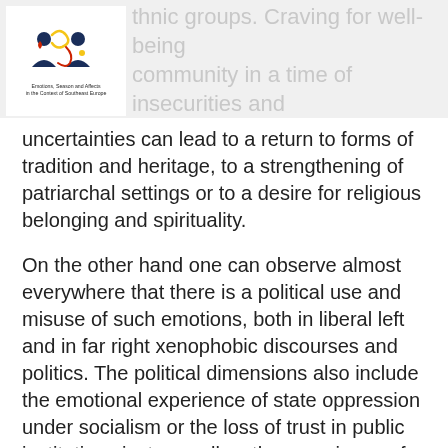thnic groups. Craving for well-being community in a time of insecurities and
[Figure (logo): Emotions, Season and Affects in the Context of Southeast Europe logo with two stylized figures and decorative swirls]
uncertainties can lead to a return to forms of tradition and heritage, to a strengthening of patriarchal settings or to a desire for religious belonging and spirituality.
On the other hand one can observe almost everywhere that there is a political use and misuse of such emotions, both in liberal left and in far right xenophobic discourses and politics. The political dimensions also include the emotional experience of state oppression under socialism or the loss of trust in public institutions just as well as the experience of wars or other conflicts.
An important aspect will be the ways in which emotions such as love or hatred, compassion or empathy (and lack of this) are expressed in everyday life and language, in pictures, narratives or songs. The